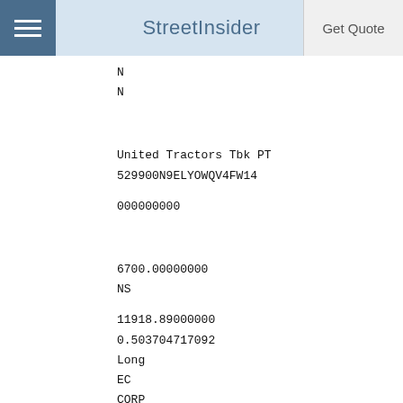StreetInsider | Get Quote
N
N
United Tractors Tbk PT
529900N9ELYOWQV4FW14
000000000
6700.00000000
NS
11918.89000000
0.503704717092
Long
EC
CORP
ID
N
1